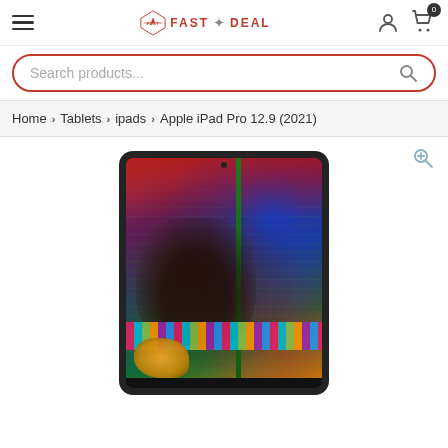Fast Deal — navigation header with hamburger menu, logo, user icon, cart (0)
Search products...
Home > Tablets > ipads > Apple iPad Pro 12.9 (2021)
[Figure (photo): Apple iPad Pro 12.9 (2021) product image showing the device with a colorful display featuring a person looking up, surrounded by vibrant neon colors, with a zoom/magnify icon in the corner]